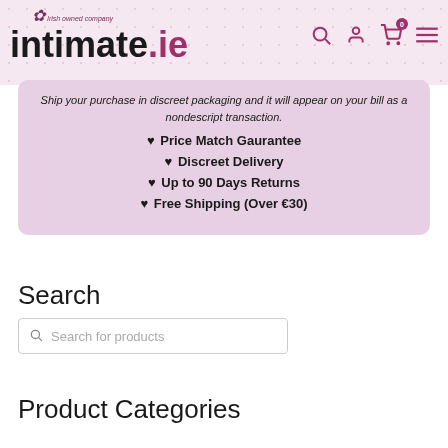[Figure (logo): intimate.ie logo with shamrock icon and 'Irish owned company' tagline, with navigation icons (search, account, cart with badge 0, menu)]
Ship your purchase in discreet packaging and it will appear on your bill as a nondescript transaction.
♥ Price Match Gaurantee
♥ Discreet Delivery
♥ Up to 90 Days Returns
♥ Free Shipping (Over €30)
Search
Search for products
Product Categories